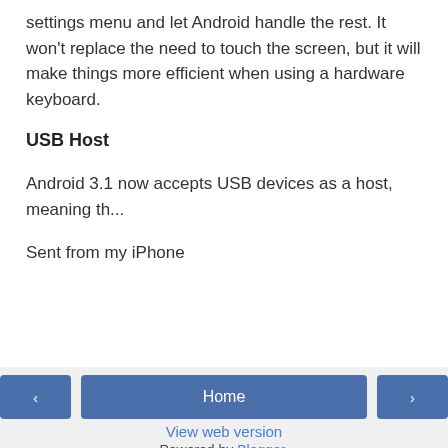settings menu and let Android handle the rest. It won't replace the need to touch the screen, but it will make things more efficient when using a hardware keyboard.
USB Host
Android 3.1 now accepts USB devices as a host, meaning th...
Sent from my iPhone
‹   Home   ›   View web version   Powered by Blogger.